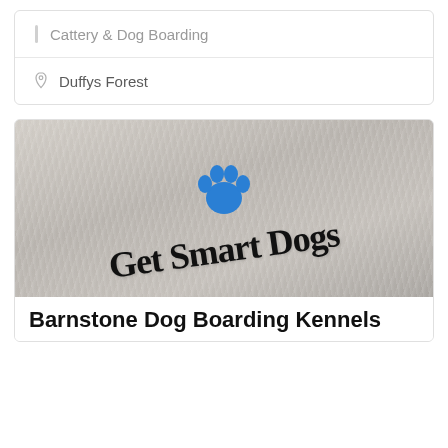Cattery & Dog Boarding
Duffys Forest
[Figure (logo): Get Smart Dogs logo — a blue paw print above the text 'Get Smart Dogs' in black handwritten/cursive style font, overlaid on a blurred dog fur background image.]
Barnstone Dog Boarding Kennels